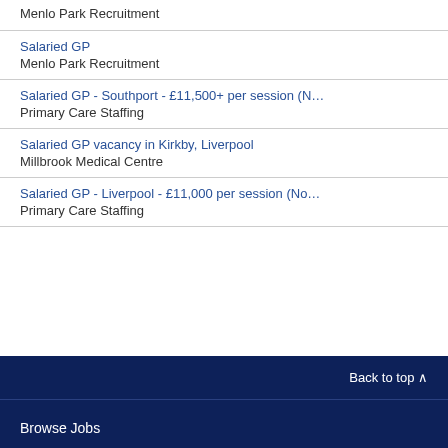Menlo Park Recruitment
Salaried GP
Menlo Park Recruitment
Salaried GP - Southport - £11,500+ per session (N…
Primary Care Staffing
Salaried GP vacancy in Kirkby, Liverpool
Millbrook Medical Centre
Salaried GP - Liverpool - £11,000 per session (No…
Primary Care Staffing
Back to top ∧
Browse Jobs